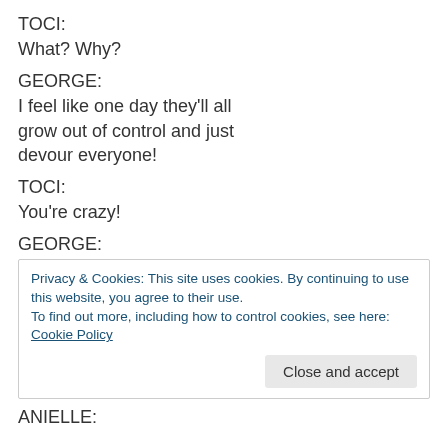TOCI:
What? Why?
GEORGE:
I feel like one day they'll all grow out of control and just devour everyone!
TOCI:
You're crazy!
GEORGE:
Privacy & Cookies: This site uses cookies. By continuing to use this website, you agree to their use.
To find out more, including how to control cookies, see here: Cookie Policy
Close and accept
ANIELLE: